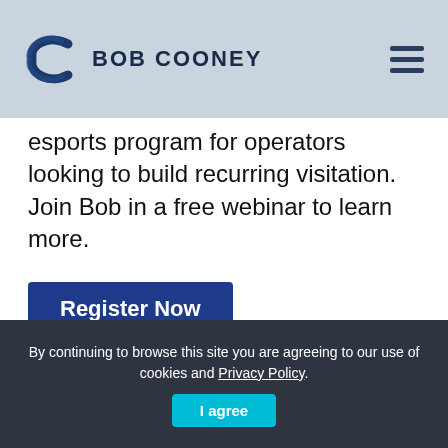[Figure (logo): Bob Cooney logo with circular wave icon and bold text BOB COONEY]
esports program for operators looking to build recurring visitation. Join Bob in a free webinar to learn more.
Register Now
By continuing to browse this site you are agreeing to our use of cookies and Privacy Policy.
I agree